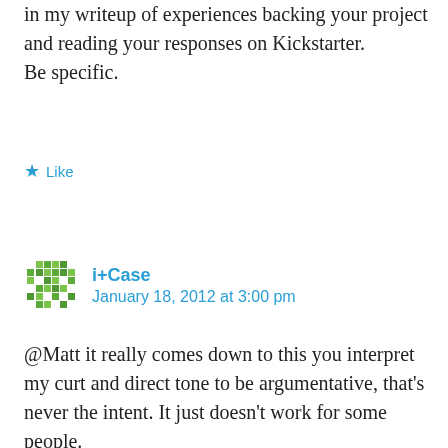in my writeup of experiences backing your project and reading your responses on Kickstarter.
Be specific.
Like
i+Case
January 18, 2012 at 3:00 pm
@Matt it really comes down to this you interpret my curt and direct tone to be argumentative, that's never the intent. It just doesn't work for some people.